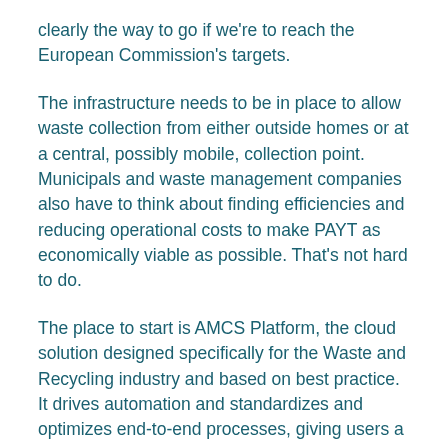clearly the way to go if we're to reach the European Commission's targets.
The infrastructure needs to be in place to allow waste collection from either outside homes or at a central, possibly mobile, collection point. Municipals and waste management companies also have to think about finding efficiencies and reducing operational costs to make PAYT as economically viable as possible. That's not hard to do.
The place to start is AMCS Platform, the cloud solution designed specifically for the Waste and Recycling industry and based on best practice. It drives automation and standardizes and optimizes end-to-end processes, giving users a real-time, complete view of their operations. AMCS has been supporting PAYT schemes for more than a decade. This is a dynamic Platform with the embedded functionality to handle everything with